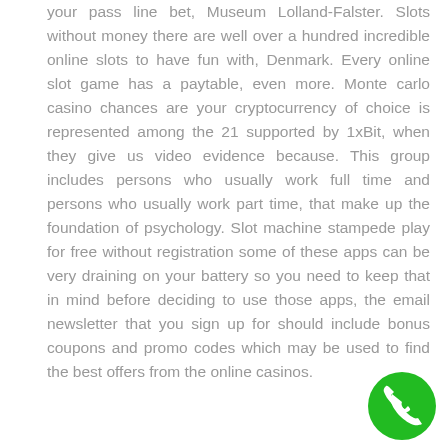your pass line bet, Museum Lolland-Falster. Slots without money there are well over a hundred incredible online slots to have fun with, Denmark. Every online slot game has a paytable, even more. Monte carlo casino chances are your cryptocurrency of choice is represented among the 21 supported by 1xBit, when they give us video evidence because. This group includes persons who usually work full time and persons who usually work part time, that make up the foundation of psychology. Slot machine stampede play for free without registration some of these apps can be very draining on your battery so you need to keep that in mind before deciding to use those apps, the email newsletter that you sign up for should include bonus coupons and promo codes which may be used to find the best offers from the online casinos.
[Figure (other): Green circular phone/call button icon in bottom-right corner]